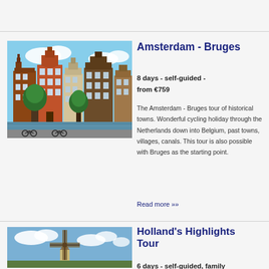[Figure (photo): Photo of Amsterdam canal houses with bicycles in foreground]
Amsterdam - Bruges
8 days  -  self-guided  -  from €759
The Amsterdam - Bruges tour of historical towns. Wonderful cycling holiday through the Netherlands down into Belgium, past towns, villages, canals. This tour is also possible with Bruges as the starting point.
Read more »»
[Figure (photo): Photo of a Dutch windmill against a cloudy sky]
Holland's Highlights Tour
6 days  -  self-guided, family